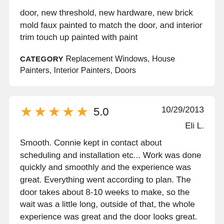door, new threshold, new hardware, new brick mold faux painted to match the door, and interior trim touch up painted with paint
CATEGORY Replacement Windows, House Painters, Interior Painters, Doors
★★★★★ 5.0   10/29/2013   Eli L.
Smooth. Connie kept in contact about scheduling and installation etc... Work was done quickly and smoothly and the experience was great. Everything went according to plan. The door takes about 8-10 weeks to make, so the wait was a little long, outside of that, the whole experience was great and the door looks great.